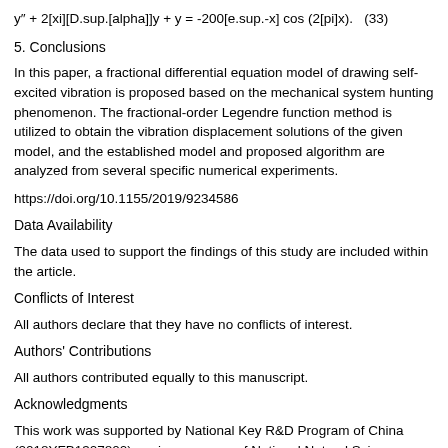5. Conclusions
In this paper, a fractional differential equation model of drawing self-excited vibration is proposed based on the mechanical system hunting phenomenon. The fractional-order Legendre function method is utilized to obtain the vibration displacement solutions of the given model, and the established model and proposed algorithm are analyzed from several specific numerical experiments.
https://doi.org/10.1155/2019/9234586
Data Availability
The data used to support the findings of this study are included within the article.
Conflicts of Interest
All authors declare that they have no conflicts of interest.
Authors' Contributions
All authors contributed equally to this manuscript.
Acknowledgments
This work was supported by National Key R&D Program of China (2018YFB1307800), review program of National Natural Sci...